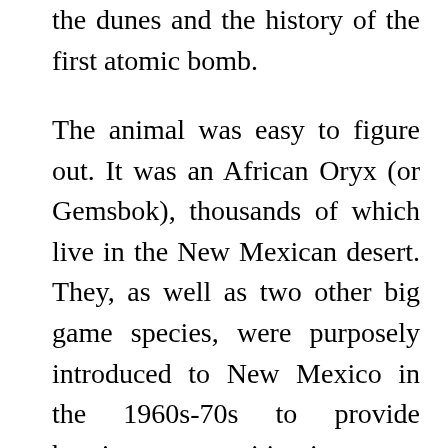the dunes and the history of the first atomic bomb.
The animal was easy to figure out. It was an African Oryx (or Gemsbok), thousands of which live in the New Mexican desert. They, as well as two other big game species, were purposely introduced to New Mexico in the 1960s-70s to provide hunting opportunities in a state without much big game. White Sands attempts to keep the Oryx out of the park with fencing, but the one we saw evidently got through somehow. We also looked up the other two introduced species; the Ibex and the African Barbary Sheep, both of which are driving to swallow the Oryx in their